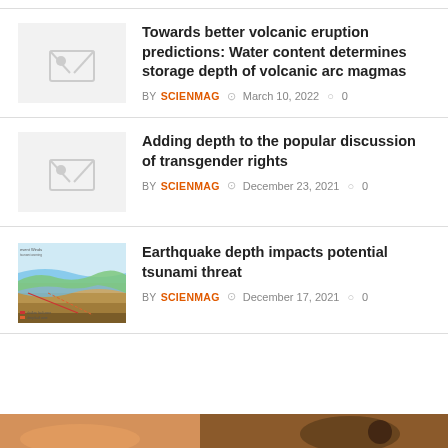Towards better volcanic eruption predictions: Water content determines storage depth of volcanic arc magmas
BY SCIENMAG  March 10, 2022  0
Adding depth to the popular discussion of transgender rights
BY SCIENMAG  December 23, 2021  0
[Figure (illustration): Diagram showing earthquake fault cross-section with colored geologic layers]
Earthquake depth impacts potential tsunami threat
BY SCIENMAG  December 17, 2021  0
[Figure (photo): Partial photo visible at bottom of page, warm-toned]